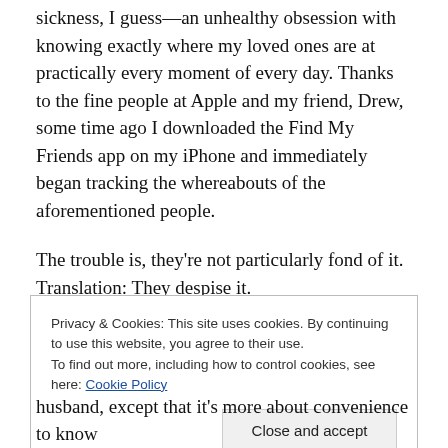sickness, I guess—an unhealthy obsession with knowing exactly where my loved ones are at practically every moment of every day. Thanks to the fine people at Apple and my friend, Drew, some time ago I downloaded the Find My Friends app on my iPhone and immediately began tracking the whereabouts of the aforementioned people.
The trouble is, they're not particularly fond of it. Translation: They despise it.
Privacy & Cookies: This site uses cookies. By continuing to use this website, you agree to their use. To find out more, including how to control cookies, see here: Cookie Policy
husband, except that it's more about convenience to know